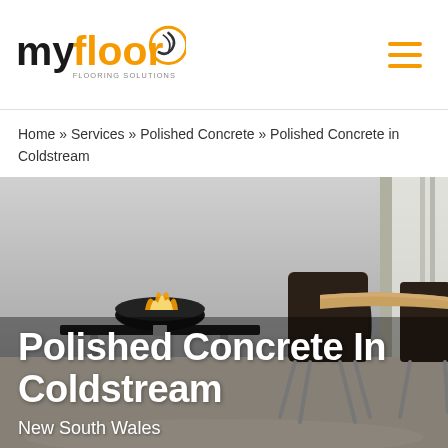[Figure (logo): MyFloor Flooring Solutions logo with orange swirl and text]
Home » Services » Polished Concrete » Polished Concrete in Coldstream
[Figure (photo): Interior photo showing polished concrete floor with modern dark chairs and a round table with fireplace in background]
Polished Concrete In Coldstream
New South Wales